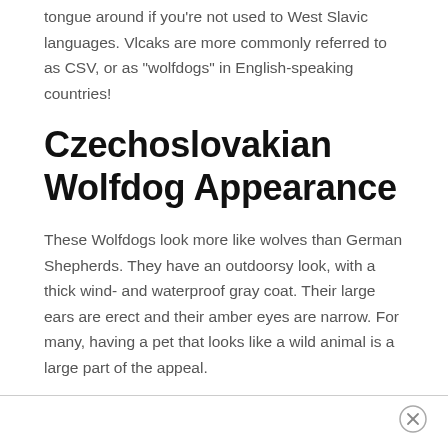tongue around if you're not used to West Slavic languages. Vlcaks are more commonly referred to as CSV, or as “wolfdogs” in English-speaking countries!
Czechoslovakian Wolfdog Appearance
These Wolfdogs look more like wolves than German Shepherds. They have an outdoorsy look, with a thick wind- and waterproof gray coat. Their large ears are erect and their amber eyes are narrow. For many, having a pet that looks like a wild animal is a large part of the appeal.